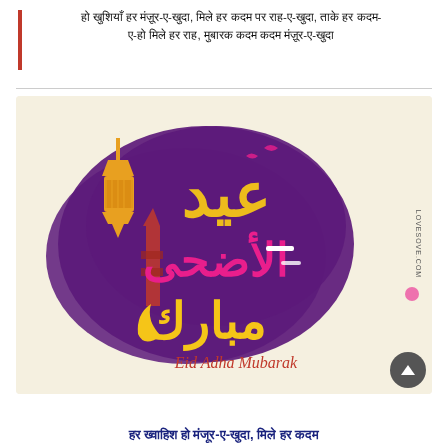हो खुशियाँ हर मंज़ूर-ए-खुदा, मिले हर कदम पर राह-ए-खुदा, ताके हर कदम- ए-हो मिले हर राह, मुबारक कदम कदम मंज़ूर-ए-खुदा
[Figure (illustration): Eid Al Adha Mubarak greeting card with Arabic calligraphy text in gold and purple colors, minaret/mosque silhouettes, lantern, crescent moon, and 'Eid Adha Mubarak' in cursive English text. Background is cream/light yellow. LOVESOVE.COM watermark on the right side.]
हर ख्वाहिश हो मंजूर-ए-खुदा, मिले हर कदम